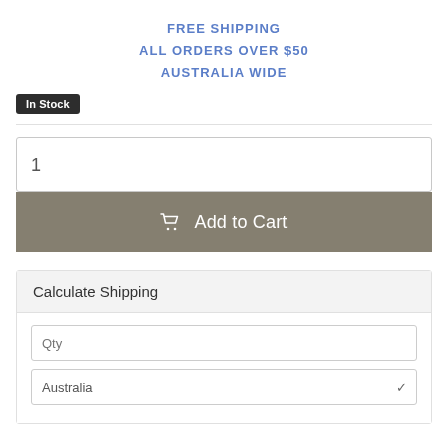FREE SHIPPING
ALL ORDERS OVER $50
AUSTRALIA WIDE
In Stock
1
Add to Cart
Calculate Shipping
Qty
Australia